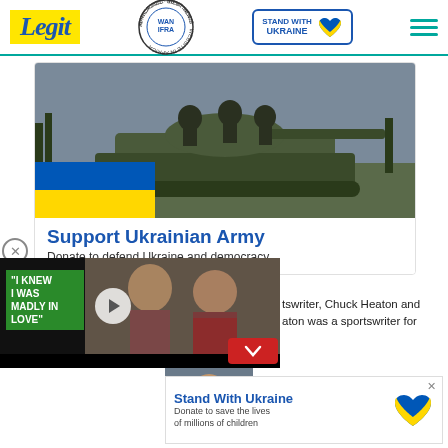Legit — Stand With Ukraine — WAN-IFRA Best News Website in Africa 2021
[Figure (photo): Advertisement banner: Ukrainian military tank with soldiers on top, Ukrainian flag overlay in bottom-left corner. Title: Support Ukrainian Army. Subtitle: Donate to defend Ukraine and democracy]
Support Ukrainian Army
Donate to defend Ukraine and democracy
[Figure (screenshot): Video ad overlay with green text reading 'I KNEW I WAS MADLY IN LOVE' and a couple photo, play button visible]
tswriter, Chuck Heaton and aton was a sportswriter for
[Figure (infographic): Stand With Ukraine donation ad banner at bottom. Text: Stand With Ukraine. Donate to save the lives of millions of children. Ukraine heart logo.]